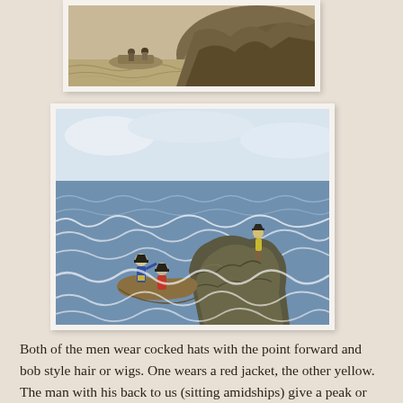[Figure (illustration): Partial view of a historical engraving or illustration showing figures in a boat near a rocky shore, cropped at the top — sepia/brown tones]
[Figure (illustration): Colored historical illustration showing two men in cocked hats in a small boat near rocky coastline with waves; one man wears a blue jacket, another red; a third figure in yellow stands on the rocks]
Both of the men wear cocked hats with the point forward and bob style hair or wigs. One wears a red jacket, the other yellow. The man with his back to us (sitting amidships) give a peak or the trousers or slops/petticoat trousers through the